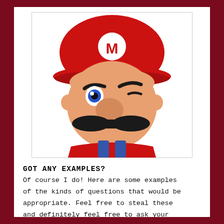[Figure (illustration): 3D render of Mario character face with red cap featuring white M logo, blue eyes (one winking), large nose, black mustache, and red outfit with blue overalls visible at bottom]
GOT ANY EXAMPLES?
Of course I do! Here are some examples of the kinds of questions that would be appropriate. Feel free to steal these and definitely feel free to ask your own, probably cleverer questions: What games do you think Nintendo will